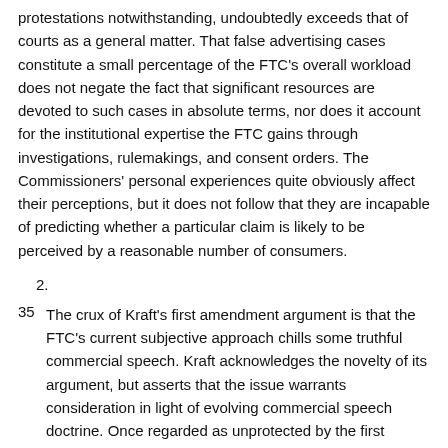protestations notwithstanding, undoubtedly exceeds that of courts as a general matter. That false advertising cases constitute a small percentage of the FTC's overall workload does not negate the fact that significant resources are devoted to such cases in absolute terms, nor does it account for the institutional expertise the FTC gains through investigations, rulemakings, and consent orders. The Commissioners' personal experiences quite obviously affect their perceptions, but it does not follow that they are incapable of predicting whether a particular claim is likely to be perceived by a reasonable number of consumers.
2.
35  The crux of Kraft's first amendment argument is that the FTC's current subjective approach chills some truthful commercial speech. Kraft acknowledges the novelty of its argument, but asserts that the issue warrants consideration in light of evolving commercial speech doctrine. Once regarded as unprotected by the first amendment, see Valentine v. Chrestensen, 316 U.S. 52, 62 S.Ct. 920, 86 L.Ed. 1262 (1942), commercial speech, as noted, has since been brought within the sphere of constitutional protection. Virginia Pharmacy Bd., 425 U.S. at 770, 96 S.Ct. at 1829-30. Society has a strong interest 'in the free flow of commercial information,' critical to a free market